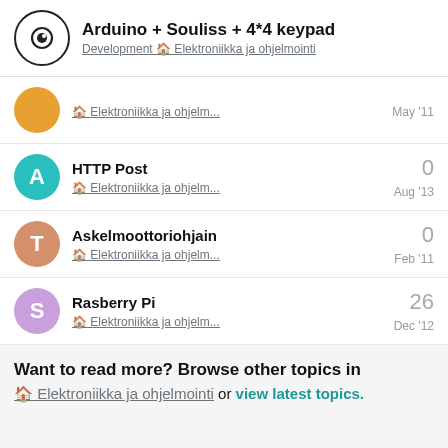Arduino + Souliss + 4*4 keypad
Development 🏠 Elektroniikka ja ohjelmointi
🏠 Elektroniikka ja ohjelm... May '11
HTTP Post | 🏠 Elektroniikka ja ohjelm... | 0 | Aug '13
Askelmoottoriohjain | 🏠 Elektroniikka ja ohjelm... | 0 | Feb '11
Rasberry Pi | 🏠 Elektroniikka ja ohjelm... | 26 | Dec '12
Want to read more? Browse other topics in
🏠 Elektroniikka ja ohjelmointi or view latest topics.